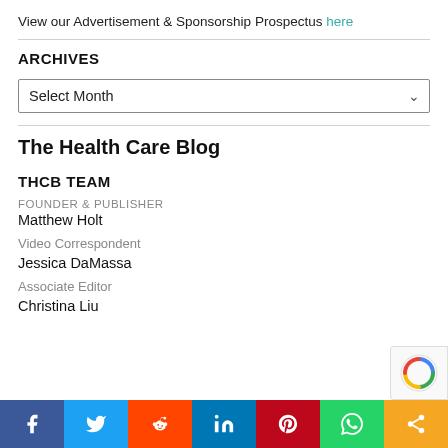View our Advertisement & Sponsorship Prospectus here
ARCHIVES
Select Month
The Health Care Blog
THCB TEAM
FOUNDER & PUBLISHER
Matthew Holt
Video Correspondent
Jessica DaMassa
Associate Editor
Christina Liu
Social share bar: Facebook, Twitter, Reddit, LinkedIn, Pinterest, WhatsApp, Share